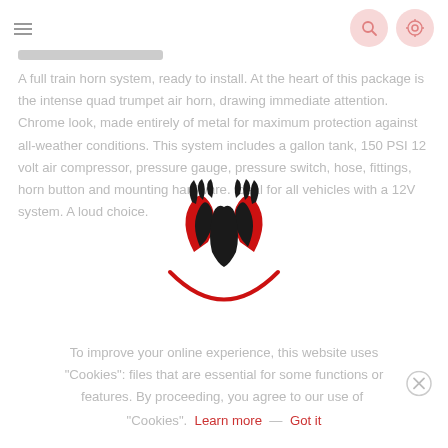≡  [search icon] [settings icon]
— — — — — — —
A full train horn system, ready to install. At the heart of this package is the intense quad trumpet air horn, drawing immediate attention. Chrome look, made entirely of metal for maximum protection against all-weather conditions. This system includes a gallon tank, 150 PSI 12 volt air compressor, pressure gauge, pressure switch, hose, fittings, horn button and mounting hardware. Ideal for all vehicles with a 12V system. A loud choice.
[Figure (logo): Red and black logo with stylized wings/horn shapes and a red arc at bottom]
To improve your online experience, this website uses "Cookies": files that are essential for some functions or features. By proceeding, you agree to our use of "Cookies".  Learn more   —   Got it